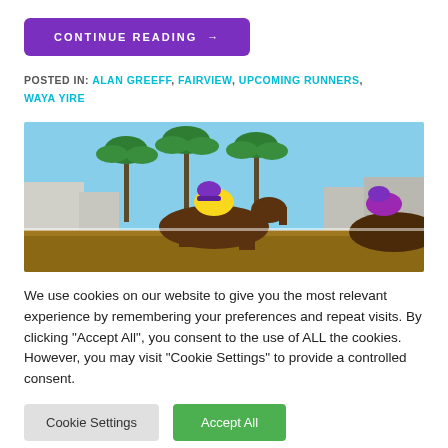CONTINUE READING →
POSTED IN: ALAN GREEFF, FAIRVIEW, UPCOMING RUNNERS, WAYA YIRE
[Figure (photo): Horse racing photo showing jockeys on horseback racing, with palm trees and blue sky in the background. Lead jockey wears yellow silks and purple helmet.]
We use cookies on our website to give you the most relevant experience by remembering your preferences and repeat visits. By clicking "Accept All", you consent to the use of ALL the cookies. However, you may visit "Cookie Settings" to provide a controlled consent.
Cookie Settings
Accept All